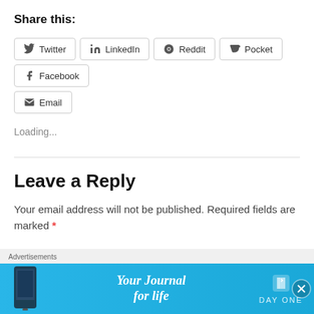Share this:
Twitter
LinkedIn
Reddit
Pocket
Facebook
Email
Loading...
Leave a Reply
Your email address will not be published. Required fields are marked *
Advertisements
[Figure (infographic): Day One app advertisement banner with text 'Your Journal for life' and book icon logo on blue background]